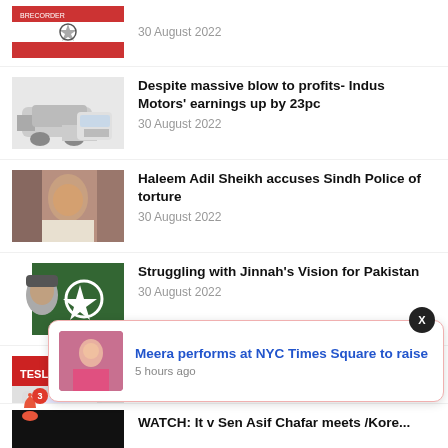[Figure (photo): Top partial news item thumbnail - Iran flag with star]
30 August 2022
[Figure (photo): White Toyota car with money]
Despite massive blow to profits- Indus Motors' earnings up by 23pc
30 August 2022
[Figure (photo): Haleem Adil Sheikh being held by police]
Haleem Adil Sheikh accuses Sindh Police of torture
30 August 2022
[Figure (photo): Jinnah with Pakistan flag]
Struggling with Jinnah's Vision for Pakistan
30 August 2022
[Figure (photo): Tesla showroom with white car]
[Figure (photo): Notification popup - Meera performs at NYC Times Square]
Meera performs at NYC Times Square to raise
5 hours ago
[Figure (photo): Bottom partial news item thumbnail - black]
WATCH: It v Sen Asif Chafar meets /Kore...